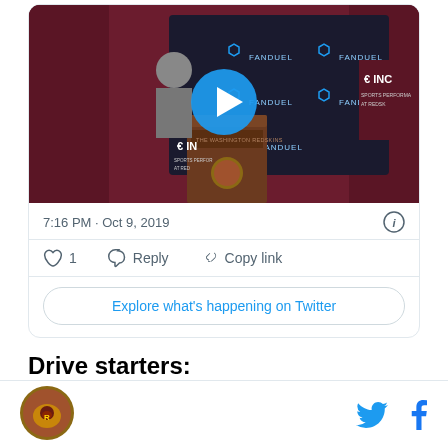[Figure (screenshot): Embedded tweet card showing a video thumbnail of a Washington Redskins press conference podium with FanDuel branding on screens in the background. A blue play button circle overlays the center of the image.]
7:16 PM · Oct 9, 2019
♡ 1   Reply   Copy link
Explore what's happening on Twitter
Drive starters:
[Figure (logo): Washington Redskins circular logo (helmet) at bottom left]
[Figure (logo): Twitter and Facebook share icons at bottom right]